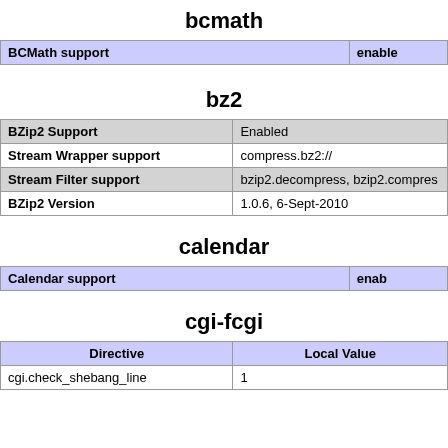bcmath
| BCMath support | enable |
| --- | --- |
bz2
| BZip2 Support | Enabled |
| Stream Wrapper support | compress.bz2:// |
| Stream Filter support | bzip2.decompress, bzip2.compress |
| BZip2 Version | 1.0.6, 6-Sept-2010 |
calendar
| Calendar support | enab |
| --- | --- |
cgi-fcgi
| Directive | Local Value |
| --- | --- |
| cgi.check_shebang_line | 1 |